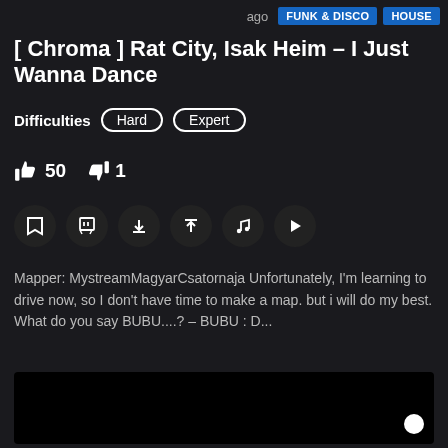ago  FUNK & DISCO  HOUSE
[ Chroma ] Rat City, Isak Heim – I Just Wanna Dance
Difficulties  Hard  Expert
👍 50  👎 1
[Figure (screenshot): Row of circular icon buttons: bookmark, Twitch, download (down arrow), upload (up arrow), music note, play button]
Mapper: MystreamMagyarCsatornaja Unfortunately, I'm learning to drive now, so I don't have time to make a map. but i will do my best. What do you say BUBU....? – BUBU : D...
[Figure (screenshot): Black video player area with a white circle dot in the bottom right corner]